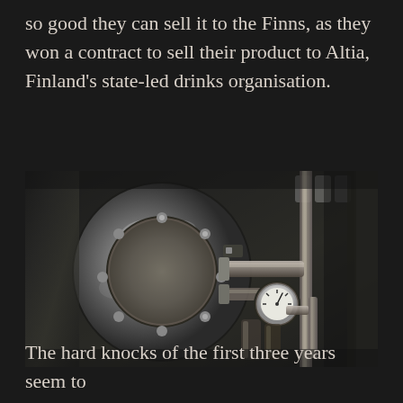so good they can sell it to the Finns, as they won a contract to sell their product to Altia, Finland's state-led drinks organisation.
[Figure (photo): Black and white photograph of distillery equipment showing a large circular metallic still or vessel with reflective surface on the left, and various pipes, valves, gauges and glass containers on the right, all in an industrial setting.]
The hard knocks of the first three years seem to